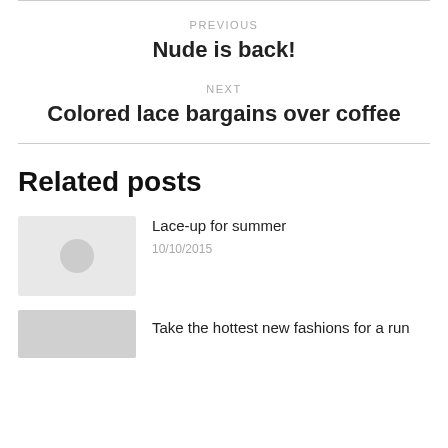PREVIOUS
Nude is back!
NEXT
Colored lace bargains over coffee
Related posts
Lace-up for summer
10/10/2015
Take the hottest new fashions for a run